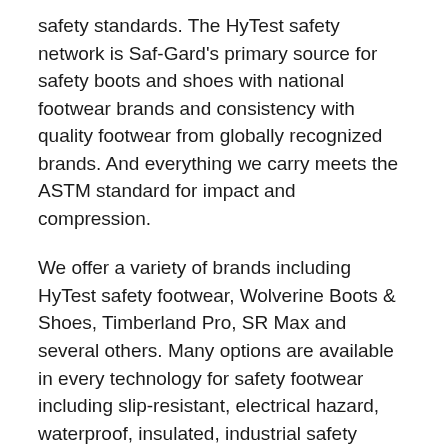safety standards. The HyTest safety network is Saf-Gard's primary source for safety boots and shoes with national footwear brands and consistency with quality footwear from globally recognized brands. And everything we carry meets the ASTM standard for impact and compression.
We offer a variety of brands including HyTest safety footwear, Wolverine Boots & Shoes, Timberland Pro, SR Max and several others. Many options are available in every technology for safety footwear including slip-resistant, electrical hazard, waterproof, insulated, industrial safety footwear, static dissipative and composite toe. Saf-Gard's network of manufacturers allows us to access any other technology and products you might require.
We know that you work hard, your feet shouldn't. That's